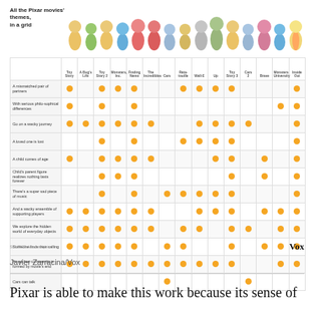All the Pixar movies' themes, in a grid
[Figure (table-as-image): Grid chart showing Pixar movie themes vs movies. Rows are themes (A mismatched pair of partners, With serious philosophical differences, Go on a wacky journey, A loved one is lost, A child comes of age, Child's parent figure realizes nothing lasts forever, There's a super sad piece of music, And a wacky ensemble of supporting players, We explore the hidden world of everyday objects, Someone finds their calling, An ad hoc community is formed by movie's end, Cars can talk). Columns are Pixar movies (Toy Story, A Bug's Life, Toy Story 2, Monsters Inc, Finding Nemo, The Incredibles, Cars, Ratatouille, Wall-E, Up, Toy Story 3, Cars 2, Brave, Monsters University, Inside Out). Orange dots indicate presence of a theme in a movie.]
SOURCE: Vox analysis
Javier Zarracina/Vox
Pixar is able to make this work because its sense of